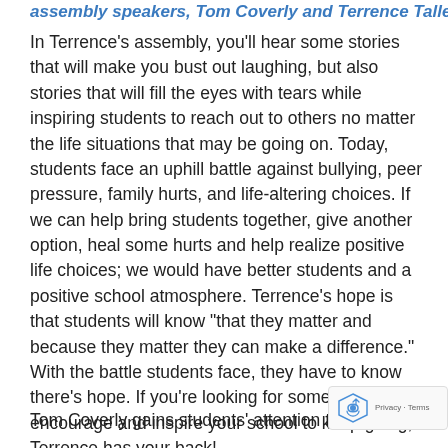assembly speakers, Tom Coverly and Terrence Talley.
In Terrence’s assembly, you’ll hear some stories that will make you bust out laughing, but also stories that will fill the eyes with tears while inspiring students to reach out to others no matter the life situations that may be going on. Today, students face an uphill battle against bullying, peer pressure, family hurts, and life-altering choices. If we can help bring students together, give another option, heal some hurts and help realize positive life choices; we would have better students and a positive school atmosphere. Terrence’s hope is that students will know “that they matter and because they matter they can make a difference.” With the battle students face, they have to know there’s hope. If you’re looking for someone to encourage and inspire your school to keep going, Terrence has your back!
Tom Coverly gains students’ attention the moment